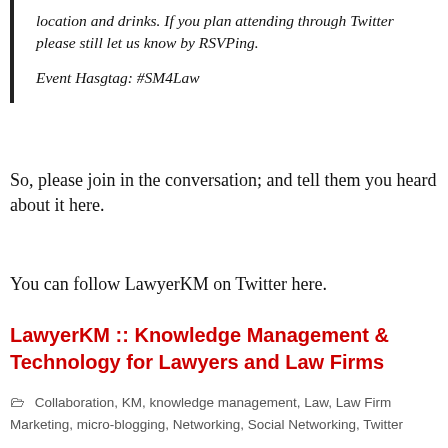location and drinks. If you plan attending through Twitter please still let us know by RSVPing.

Event Hasgtag: #SM4Law
So, please join in the conversation; and tell them you heard about it here.
You can follow LawyerKM on Twitter here.
LawyerKM :: Knowledge Management & Technology for Lawyers and Law Firms
Collaboration, KM, knowledge management, Law, Law Firm Marketing, micro-blogging, Networking, Social Networking, Twitter